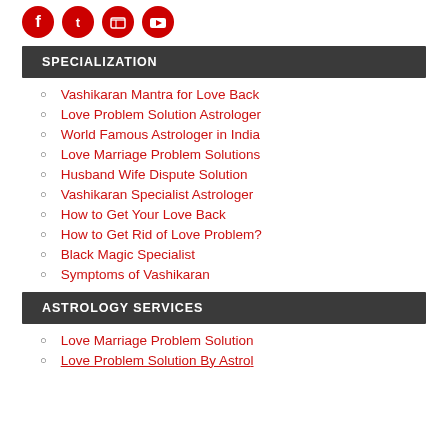[Figure (logo): Social media icons (Facebook, Twitter, LinkedIn, YouTube) in red circles]
SPECIALIZATION
Vashikaran Mantra for Love Back
Love Problem Solution Astrologer
World Famous Astrologer in India
Love Marriage Problem Solutions
Husband Wife Dispute Solution
Vashikaran Specialist Astrologer
How to Get Your Love Back
How to Get Rid of Love Problem?
Black Magic Specialist
Symptoms of Vashikaran
ASTROLOGY SERVICES
Love Marriage Problem Solution
Love Problem Solution By Astrologer